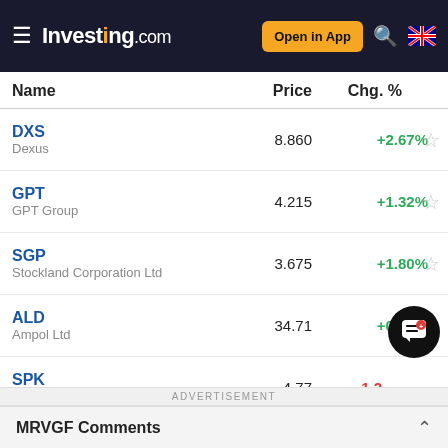Investing.com — Open in App
| Name | Price | Chg. % |
| --- | --- | --- |
| DXS
Dexus | 8.860 | +2.67% |
| GPT
GPT Group | 4.215 | +1.32% |
| SGP
Stockland Corporation Ltd | 3.675 | +1.80% |
| ALD
Ampol Ltd | 34.71 | +0.40% |
| SPK
Spark New Zealand Ltd | 4.77 | -1.2... |
ADVERTISEMENT
MRVGF Comments